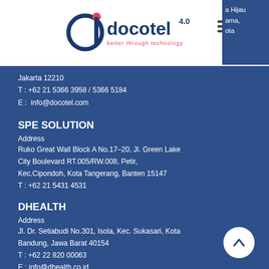[Figure (logo): Docotel 4.0 logo — blue 'd' emblem with red accent, text 'docotel 4.0' and tagline 'better through technology']
a Hijau
ama,
ota
Jakarta 12210
T : +62 21 5366 3958 / 5366 5184
E : info@docotel.com
SPE SOLUTION
Address
Ruko Great Wall Block A No.17-20, Jl. Green Lake City Boulevard RT.005/RW.008, Petir, Kec.Cipondoh, Kota Tangerang, Banten 15147
T : +62 21 5431 4531
DHEALTH
Address
Jl. Dr. Setiabudi No.301, Isola, Kec. Sukasari, Kota Bandung, Jawa Barat 40154
T : +62 22 820 00063
E : info@dhealth.co.id